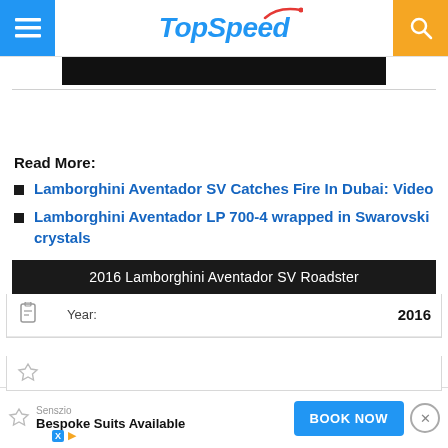TopSpeed
[Figure (screenshot): Dark video thumbnail strip]
Read More:
Lamborghini Aventador SV Catches Fire In Dubai: Video
Lamborghini Aventador LP 700-4 wrapped in Swarovski crystals
| 2016 Lamborghini Aventador SV Roadster |
| --- |
| Year: | 2016 |
[Figure (screenshot): Bottom advertisement: Senszio Bespoke Suits Available - Book Now]